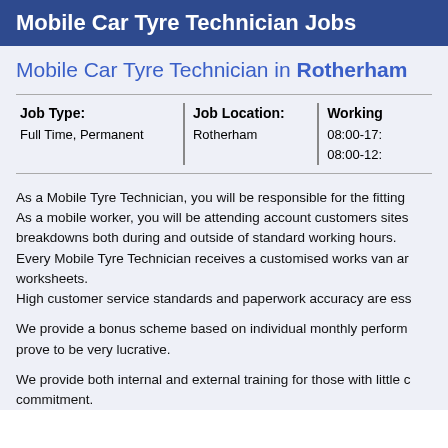Mobile Car Tyre Technician Jobs
Mobile Car Tyre Technician in Rotherham
| Job Type: | Job Location: | Working |
| --- | --- | --- |
| Full Time, Permanent | Rotherham | 08:00-17:
08:00-12: |
As a Mobile Tyre Technician, you will be responsible for the fitting As a mobile worker, you will be attending account customers sites breakdowns both during and outside of standard working hours. Every Mobile Tyre Technician receives a customised works van ar worksheets. High customer service standards and paperwork accuracy are ess
We provide a bonus scheme based on individual monthly perform prove to be very lucrative.
We provide both internal and external training for those with little c commitment.